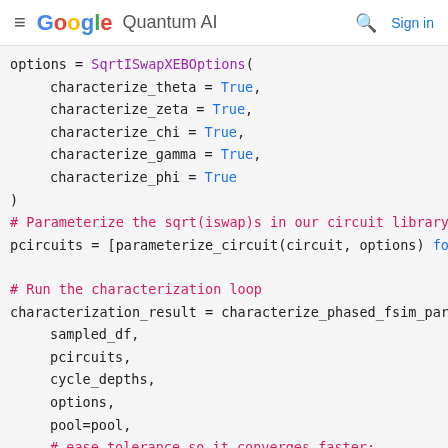≡ Google Quantum AI  🔍 Sign in
options = SqrtISwapXEBOptions(
    characterize_theta = True,
    characterize_zeta = True,
    characterize_chi = True,
    characterize_gamma = True,
    characterize_phi = True
)
# Parameterize the sqrt(iswap)s in our circuit library
pcircuits = [parameterize_circuit(circuit, options) fo

# Run the characterization loop
characterization_result = characterize_phased_fsim_par
    sampled_df,
    pcircuits,
    cycle_depths,
    options,
    pool=pool,
    # ease tolerance so it converges faster:
    fatol=5e-3,
    xatol=5e-3